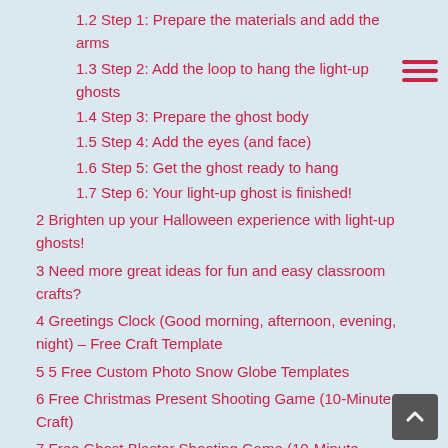1.2 Step 1: Prepare the materials and add the arms
1.3 Step 2: Add the loop to hang the light-up ghosts
1.4 Step 3: Prepare the ghost body
1.5 Step 4: Add the eyes (and face)
1.6 Step 5: Get the ghost ready to hang
1.7 Step 6: Your light-up ghost is finished!
2 Brighten up your Halloween experience with light-up ghosts!
3 Need more great ideas for fun and easy classroom crafts?
4 Greetings Clock (Good morning, afternoon, evening, night) – Free Craft Template
5 5 Free Custom Photo Snow Globe Templates
6 Free Christmas Present Shooting Game (10-Minute Craft)
7 Free Ghost Blaster Shooting Game (10-Minute Halloween Craft)
8 World's Easiest Chocolate Mug Cup Cakes (microwave recipe)
9 Pen Pan Flutes – Musical Instrument Kids Crafts
10 ESL/EFL Origami Craft – Paku Paku Fortune Tellers
11 Easy 3D Reindeer Christmas Card Craft – (Free Instructions)